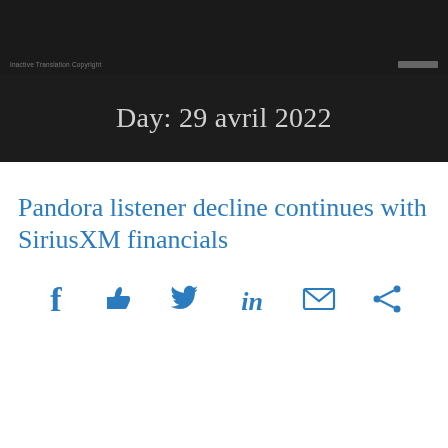Inactive Translation Copyright
Day: 29 avril 2022
Pandora listener decline continues with SiriusXM financials
[Figure (other): Social sharing icons: Facebook, Like/Thumbs up, Twitter, LinkedIn, Email, Share]